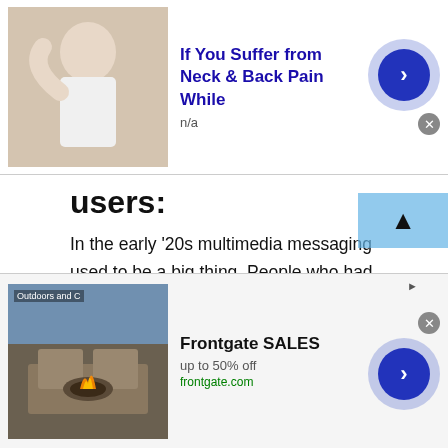[Figure (screenshot): Top advertisement banner: image of person with neck pain on left, bold blue title 'If You Suffer from Neck & Back Pain While', subtitle 'n/a', navigation arrow button on right, close button]
users:
In the early '20s multimedia messaging used to be a big thing. People who had this technology were rich. In this digital modern, you have a platform like a Talkwithstranger. Through this platform, you can also share your multimedia as well. When you chat with people of Gabon keep that in mind that Gabon is one of the most culturally rich countries in the world. You would for sure want to see how they live, what they eat, how they cook, and how they practice
[Figure (screenshot): Bottom advertisement banner: outdoor furniture image on left with 'Outdoors and C' label, 'Frontgate SALES' title, 'up to 50% off', 'frontgate.com' URL, navigation arrow button on right, close button and ad indicator]